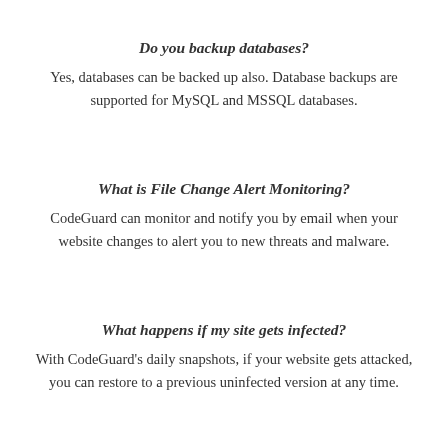Do you backup databases?
Yes, databases can be backed up also. Database backups are supported for MySQL and MSSQL databases.
What is File Change Alert Monitoring?
CodeGuard can monitor and notify you by email when your website changes to alert you to new threats and malware.
What happens if my site gets infected?
With CodeGuard's daily snapshots, if your website gets attacked, you can restore to a previous uninfected version at any time.